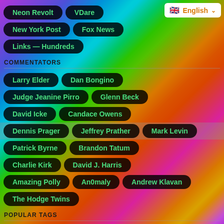Neon Revolt
VDare
New York Post
Fox News
Links — Hundreds
COMMENTATORS
Larry Elder
Dan Bongino
Judge Jeanine Pirro
Glenn Beck
David Icke
Candace Owens
Dennis Prager
Jeffrey Prather
Mark Levin
Patrick Byrne
Brandon Tatum
Charlie Kirk
David J. Harris
Amazing Polly
An0maly
Andrew Klavan
The Hodge Twins
POPULAR TAGS